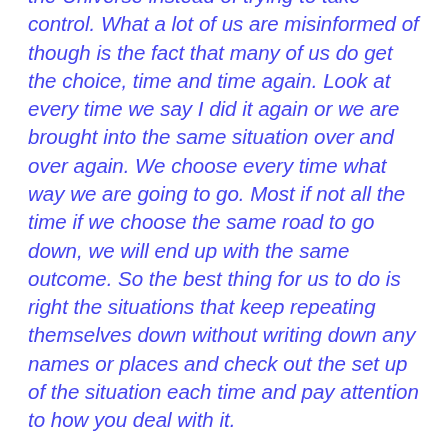the Universe instead of trying to take control. What a lot of us are misinformed of though is the fact that many of us do get the choice, time and time again. Look at every time we say I did it again or we are brought into the same situation over and over again. We choose every time what way we are going to go. Most if not all the time if we choose the same road to go down, we will end up with the same outcome. So the best thing for us to do is right the situations that keep repeating themselves down without writing down any names or places and check out the set up of the situation each time and pay attention to how you deal with it.
Most of us would be amazed in the similarities.